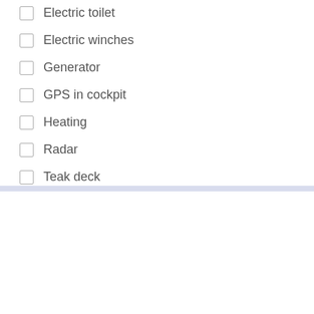Electric toilet
Electric winches
Generator
GPS in cockpit
Heating
Radar
Teak deck
TV